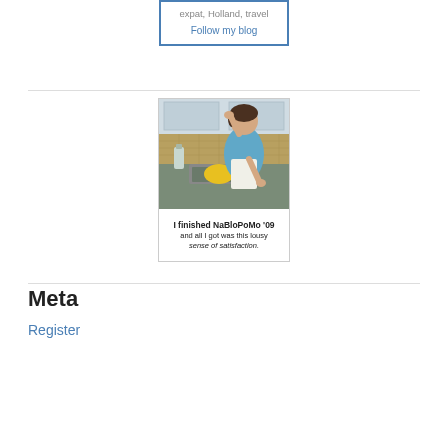expat, Holland, travel
Follow my blog
[Figure (illustration): NaBloPoMo '09 badge showing a vintage illustration of a woman at a kitchen sink with text: 'I finished NaBloPoMo '09 and all I got was this lousy sense of satisfaction.']
Meta
Register